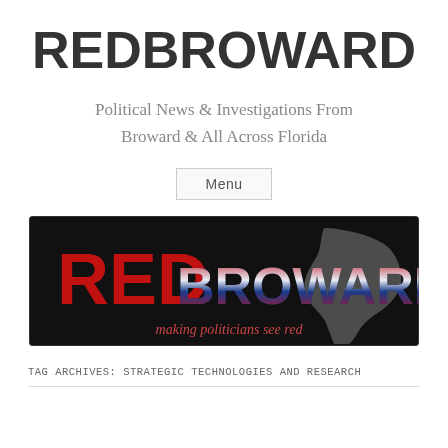REDBROWARD
Political News & Investigations From Broward & All Across Florida
Menu
[Figure (logo): RedBroward banner logo on black background with red and patriotic-styled text reading RED BROWARD and tagline 'making politicians see red', with Florida state silhouette on right side]
TAG ARCHIVES: STRATEGIC TECHNOLOGIES AND RESEARCH